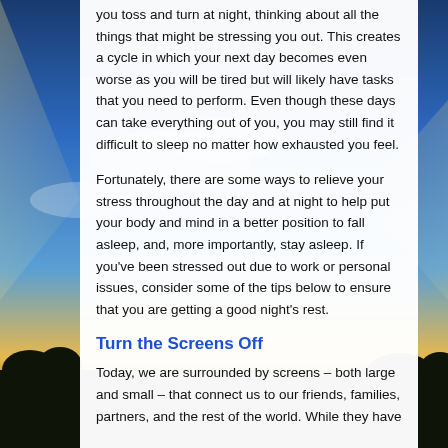[Figure (photo): Background photo of a dramatic sky with blue tones, clouds, and dark silhouetted trees at the bottom]
you toss and turn at night, thinking about all the things that might be stressing you out. This creates a cycle in which your next day becomes even worse as you will be tired but will likely have tasks that you need to perform. Even though these days can take everything out of you, you may still find it difficult to sleep no matter how exhausted you feel.
Fortunately, there are some ways to relieve your stress throughout the day and at night to help put your body and mind in a better position to fall asleep, and, more importantly, stay asleep. If you've been stressed out due to work or personal issues, consider some of the tips below to ensure that you are getting a good night's rest.
Turn the Screens Off
Today, we are surrounded by screens – both large and small – that connect us to our friends, families, partners, and the rest of the world. While they have